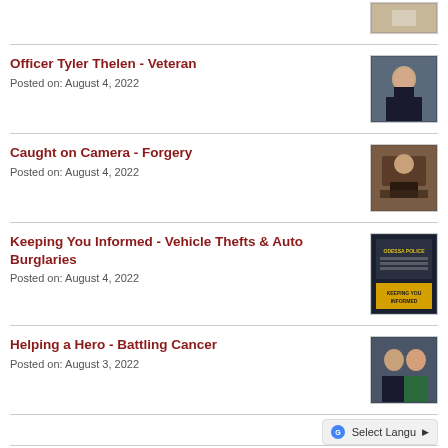[Figure (photo): Partial thumbnail visible at top of page]
Officer Tyler Thelen - Veteran
Posted on: August 4, 2022
[Figure (photo): Photo of Officer Tyler Thelen in uniform]
Caught on Camera - Forgery
Posted on: August 4, 2022
[Figure (photo): Photo related to forgery incident]
Keeping You Informed - Vehicle Thefts & Auto Burglaries
Posted on: August 4, 2022
[Figure (photo): Odessa Police Keeping You Informed graphic]
Helping a Hero - Battling Cancer
Posted on: August 3, 2022
[Figure (photo): Photo of officers, Helping a Hero event]
Odessa Animal Shelter - Quesadilla
[Figure (photo): Partial photo for animal shelter post]